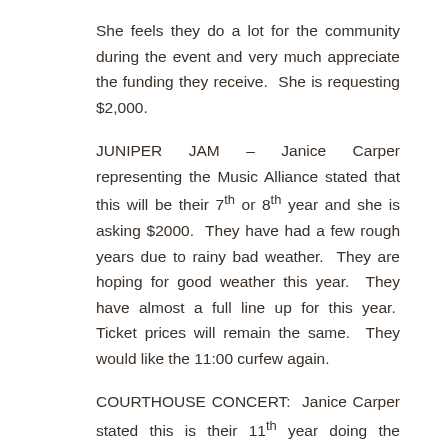She feels they do a lot for the community during the event and very much appreciate the funding they receive.  She is requesting $2,000.
JUNIPER JAM – Janice Carper representing the Music Alliance stated that this will be their 7th or 8th year and she is asking $2000.  They have had a few rough years due to rainy bad weather.  They are hoping for good weather this year.  They have almost a full line up for this year.  Ticket prices will remain the same.  They would like the 11:00 curfew again.
COURTHOUSE CONCERT:  Janice Carper stated this is their 11th year doing the series.  They cannot pull it off without the cities support.  They have a full 13 weeks of music and it will end the last week of